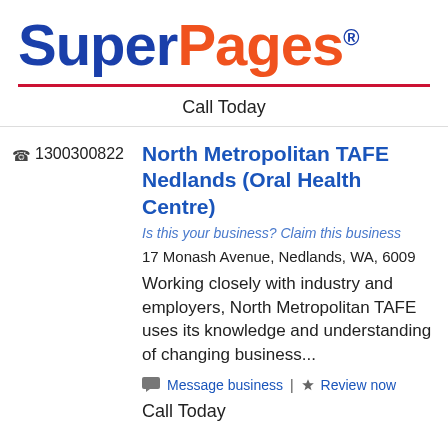[Figure (logo): SuperPages logo with 'Super' in dark blue and 'Pages' in orange, followed by a registered trademark symbol]
Call Today
1300300822
North Metropolitan TAFE Nedlands (Oral Health Centre)
Is this your business? Claim this business
17 Monash Avenue, Nedlands, WA, 6009
Working closely with industry and employers, North Metropolitan TAFE uses its knowledge and understanding of changing business...
Message business | Review now
Call Today